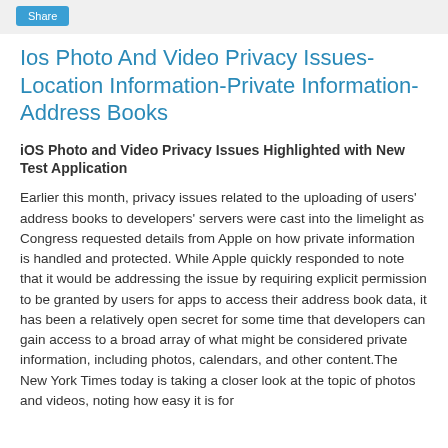Share
Ios Photo And Video Privacy Issues-Location Information-Private Information-Address Books
iOS Photo and Video Privacy Issues Highlighted with New Test Application
Earlier this month, privacy issues related to the uploading of users’ address books to developers’ servers were cast into the limelight as Congress requested details from Apple on how private information is handled and protected. While Apple quickly responded to note that it would be addressing the issue by requiring explicit permission to be granted by users for apps to access their address book data, it has been a relatively open secret for some time that developers can gain access to a broad array of what might be considered private information, including photos, calendars, and other content.The New York Times today is taking a closer look at the topic of photos and videos, noting how easy it is for